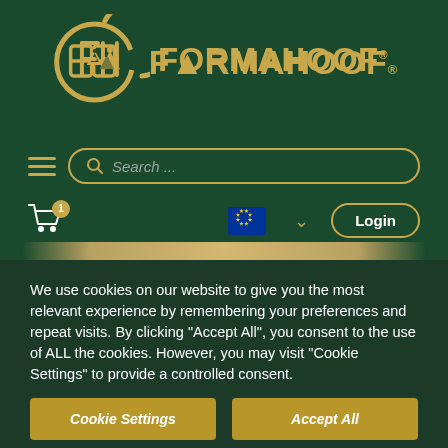[Figure (logo): FormaHoof logo: gold circular FH emblem with mountain icon, and 'FORMAHOOF' text in gold with registered trademark symbol, on dark green background]
[Figure (screenshot): Website navigation bar with hamburger menu icon and search box with placeholder text 'Search ...' on dark green background]
[Figure (screenshot): Website toolbar with shopping cart icon (badge showing 1), EU flag dropdown, chevron, and Login button]
[Figure (photo): Partial banner image showing gold/tan equine hoof care product on dark green background]
We use cookies on our website to give you the most relevant experience by remembering your preferences and repeat visits. By clicking "Accept All", you consent to the use of ALL the cookies. However, you may visit "Cookie Settings" to provide a controlled consent.
Cookie Settings
Accept All